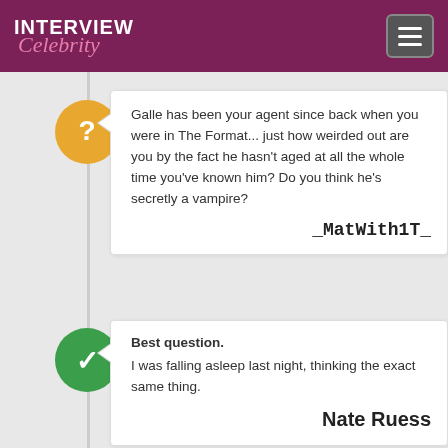INTERVIEW Celebrity
Galle has been your agent since back when you were in The Format... just how weirded out are you by the fact he hasn't aged at all the whole time you've known him? Do you think he's secretly a vampire?
_MatWith1T_
Best question.
I was falling asleep last night, thinking the exact same thing.
Nate Ruess